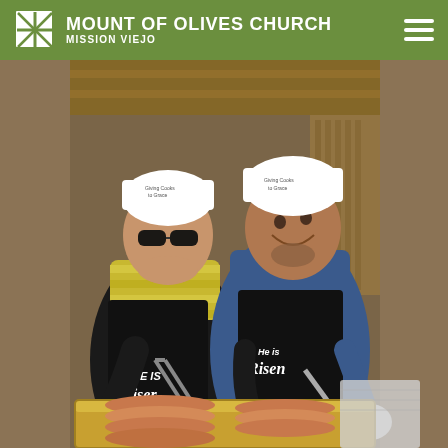Mount of Olives Church — Mission Viejo
[Figure (photo): Two men wearing white chef hats and black aprons that read 'HE IS Risen' serving pancakes outdoors at what appears to be an Easter breakfast event at Mount of Olives Church. The man on the left wears sunglasses and a striped shirt, and is handling pancakes in a foil tray. The man on the right is smiling broadly and wearing a blue shirt. Both wear white gloves.]